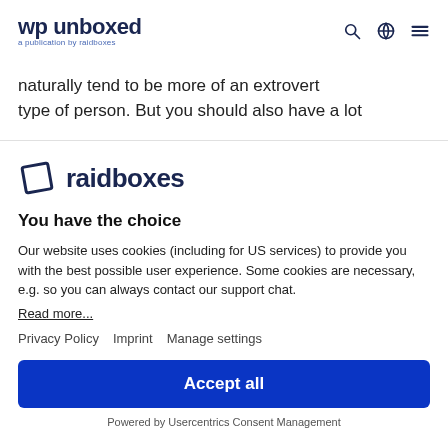wp unboxed — a publication by raidboxes
naturally tend to be more of an extrovert type of person. But you should also have a lot
[Figure (logo): Raidboxes logo — a rotated square icon followed by the word raidboxes in dark navy bold text]
You have the choice
Our website uses cookies (including for US services) to provide you with the best possible user experience. Some cookies are necessary, e.g. so you can always contact our support chat.
Read more...
Privacy Policy   Imprint   Manage settings
Accept all
Powered by Usercentrics Consent Management